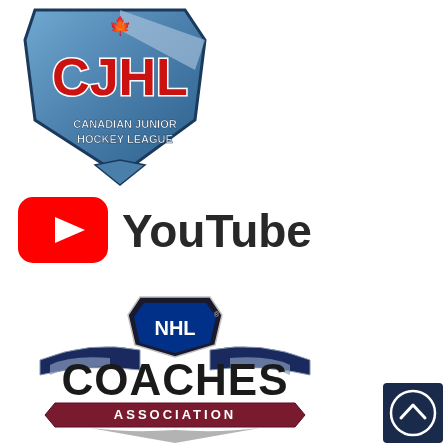[Figure (logo): Canadian Junior Hockey League (CJHL) logo — shield shape with blue metallic background, large red 'CJHL' letters with white outline, maple leaf at top, text 'CANADIAN JUNIOR HOCKEY LEAGUE' at bottom]
[Figure (logo): YouTube logo — red rounded rectangle with white play triangle on the left, black 'YouTube' wordmark text on the right]
[Figure (logo): NHL Coaches Association logo — NHL shield emblem at top center, large black 'COACHES' text, navy blue arched banner with silver wings, maroon ribbon banner with 'ASSOCIATION' text]
[Figure (logo): Small dark navy square button with white upward chevron/arrow circle icon in lower right corner]